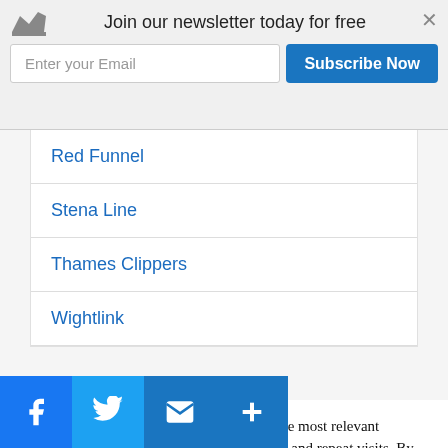Join our newsletter today for free
Red Funnel
Stena Line
Thames Clippers
Wightlink
We use cookies on our website to give you the most relevant experience by remembering your preferences and repeat visits. By clicking “Accept All”, you consent to the use of ALL the cookies. However, you may visit “Cookie Settings” to provide a controlled consent.